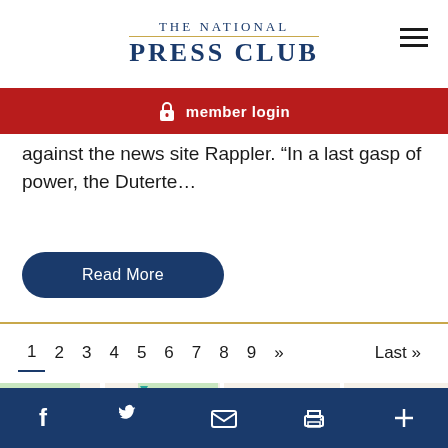THE NATIONAL PRESS CLUB
[Figure (screenshot): Red member login bar with lock icon]
against the news site Rappler. “In a last gasp of power, the Duterte…
Read More
1 2 3 4 5 6 7 8 9 » Last »
[Figure (map): Google Maps showing area near The White House, Metro Center, G St NW]
Social icons: Facebook, Twitter, Email, Print, Plus